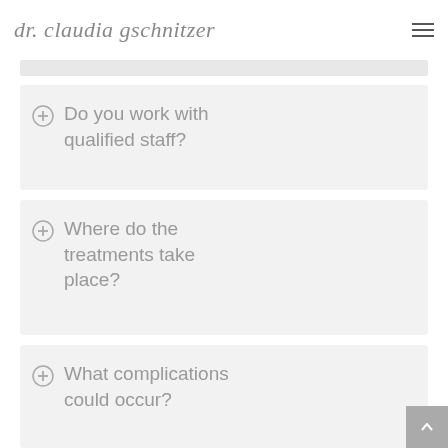dr. claudia gschnitzer
Do you work with qualified staff?
Where do the treatments take place?
What complications could occur?